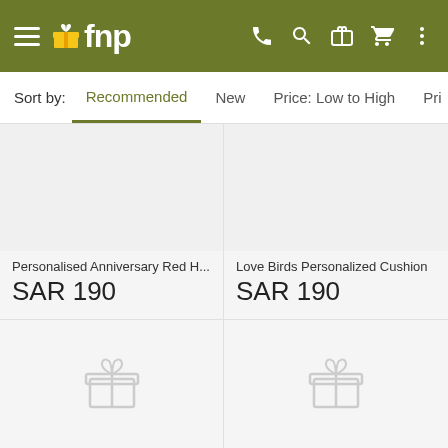[Figure (screenshot): FNP mobile app navigation bar with hamburger menu, fnp logo with gift icon, phone, search, gift card, cart, and more icons on olive/green background]
Sort by: Recommended New Price: Low to High Pri...
Personalised Anniversary Red H...
SAR 190
Love Birds Personalized Cushion
SAR 190
[Figure (illustration): Empty product placeholder with gift icon]
[Figure (illustration): Empty product placeholder with gift icon]